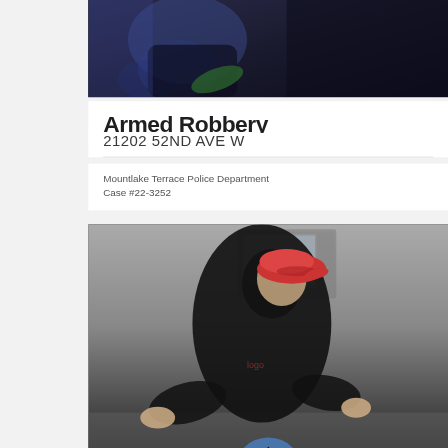[Figure (photo): Security camera or surveillance photo showing partial view of a person in dark clothing, cropped at top of the document page.]
Armed Robbery
21202 52ND AVE W
Mountlake Terrace Police Department
Case #22-3252
[Figure (photo): Security/surveillance camera footage showing a person wearing a red baseball cap and dark jacket, leaning over what appears to be a counter. Navigation arrows visible on sides and an upward arrow circle icon at bottom center.]